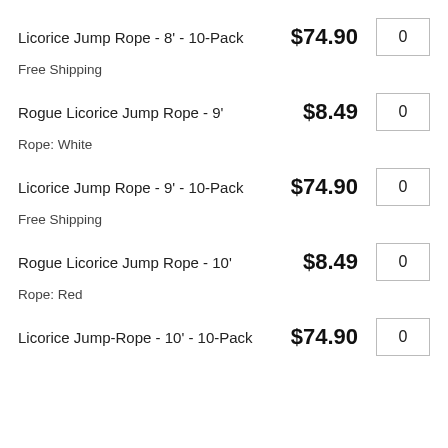Licorice Jump Rope - 8' - 10-Pack  $74.90  0
Free Shipping
Rogue Licorice Jump Rope - 9'  $8.49  0
Rope: White
Licorice Jump Rope - 9' - 10-Pack  $74.90  0
Free Shipping
Rogue Licorice Jump Rope - 10'  $8.49  0
Rope: Red
Licorice Jump-Rope - 10' - 10-Pack  $74.90  0